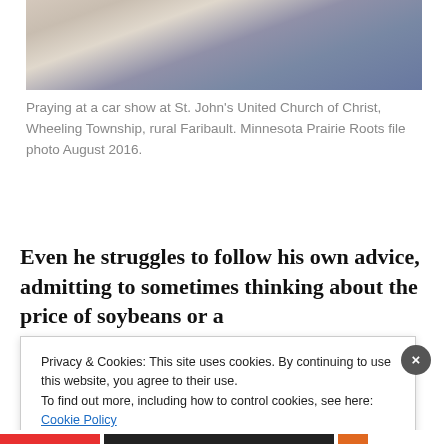[Figure (photo): Close-up photo of hands holding something at a car show, person wearing denim jeans visible in background]
Praying at a car show at St. John's United Church of Christ, Wheeling Township, rural Faribault. Minnesota Prairie Roots file photo August 2016.
Even he struggles to follow his own advice, admitting to sometimes thinking about the price of soybeans or a
Privacy & Cookies: This site uses cookies. By continuing to use this website, you agree to their use.
To find out more, including how to control cookies, see here: Cookie Policy
Close and accept